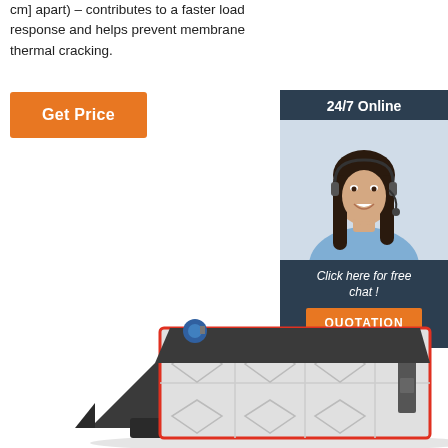cm] apart) – contributes to a faster load response and helps prevent membrane thermal cracking.
Get Price
24/7 Online
[Figure (photo): Customer service agent / woman wearing headset, smiling, used as online chat support illustration]
Click here for free chat !
QUOTATION
[Figure (photo): Industrial coal-fired steam boiler unit with stainless steel casing, red trim, and black coal hopper/feeder at the front]